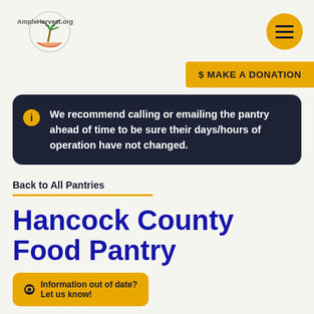[Figure (logo): AmpleHarvest.org logo with palm tree and hand illustration]
$ MAKE A DONATION
We recommend calling or emailing the pantry ahead of time to be sure their days/hours of operation have not changed.
Back to All Pantries
Hancock County Food Pantry
Information out of date? Let us know!
Alternate contact Frank Manchester